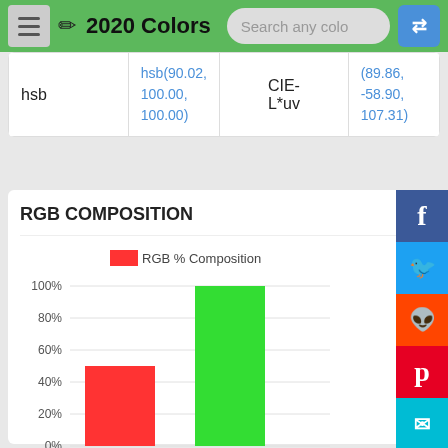2020 Colors
|  |  |  |  |
| --- | --- | --- | --- |
| hsb | hsb(90.02, 100.00, 100.00) | CIE-L*uv | (89.86, -58.90, 107.31) |
RGB COMPOSITION
[Figure (bar-chart): RGB % Composition]